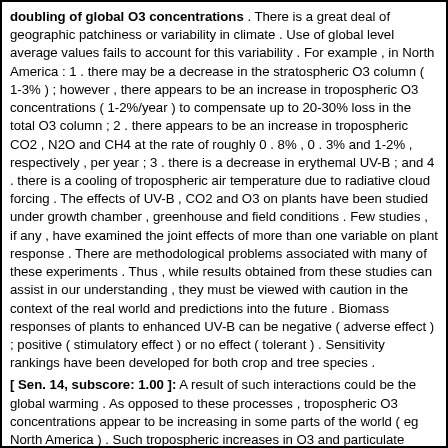doubling of global O3 concentrations . There is a great deal of geographic patchiness or variability in climate . Use of global level average values fails to account for this variability . For example , in North America : 1 . there may be a decrease in the stratospheric O3 column ( 1-3% ) ; however , there appears to be an increase in tropospheric O3 concentrations ( 1-2%/year ) to compensate up to 20-30% loss in the total O3 column ; 2 . there appears to be an increase in tropospheric CO2 , N2O and CH4 at the rate of roughly 0 . 8% , 0 . 3% and 1-2% , respectively , per year ; 3 . there is a decrease in erythemal UV-B ; and 4 . there is a cooling of tropospheric air temperature due to radiative cloud forcing . The effects of UV-B , CO2 and O3 on plants have been studied under growth chamber , greenhouse and field conditions . Few studies , if any , have examined the joint effects of more than one variable on plant response . There are methodological problems associated with many of these experiments . Thus , while results obtained from these studies can assist in our understanding , they must be viewed with caution in the context of the real world and predictions into the future . Biomass responses of plants to enhanced UV-B can be negative ( adverse effect ) ; positive ( stimulatory effect ) or no effect ( tolerant ) . Sensitivity rankings have been developed for both crop and tree species .
[ Sen. 14, subscore: 1.00 ]: A result of such interactions could be the global warming . As opposed to these processes , tropospheric O3 concentrations appear to be increasing in some parts of the world ( eg North America ) . Such tropospheric increases in O3 and particulate matter may offset any predicted increases in UV-B at those locations . Presently most general circulation models ( GCMs ) used to predict climate change are one or two-dimensional models . Application of satisfactory three-dimensional models is limited by the available computer power . Recent studies on radiative cloud forcing show that clouds may have an excess cooling effect to compensate for a doubling